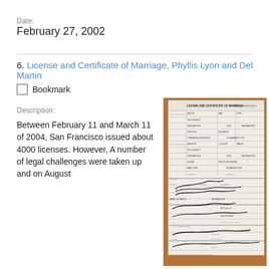Date:
February 27, 2002
6. License and Certificate of Marriage, Phyllis Lyon and Del Martin
Bookmark
Description:
Between February 11 and March 11 of 2004, San Francisco issued about 4000 licenses. However, A number of legal challenges were taken up and on August
[Figure (photo): Photograph of a License and Certificate of Marriage document for Phyllis Lyon and Del Martin, showing filled form fields and signatures, placed on a wooden surface.]